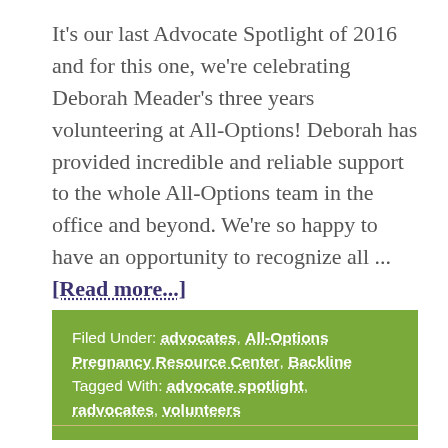It's our last Advocate Spotlight of 2016 and for this one, we're celebrating Deborah Meader's three years volunteering at All-Options! Deborah has provided incredible and reliable support to the whole All-Options team in the office and beyond. We're so happy to have an opportunity to recognize all ... [Read more...]
Filed Under: advocates, All-Options Pregnancy Resource Center, Backline Tagged With: advocate spotlight, radvocates, volunteers